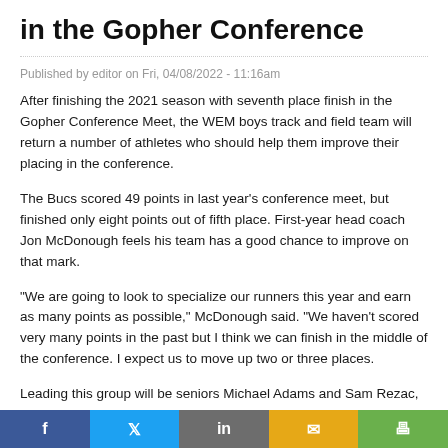in the Gopher Conference
Published by editor on Fri, 04/08/2022 - 11:16am
After finishing the 2021 season with seventh place finish in the Gopher Conference Meet, the WEM boys track and field team will return a number of athletes who should help them improve their placing in the conference.
The Bucs scored 49 points in last year's conference meet, but finished only eight points out of fifth place. First-year head coach Jon McDonough feels his team has a good chance to improve on that mark.
“We are going to look to specialize our runners this year and earn as many points as possible,” McDonough said. “We haven’t scored very many points in the past but I think we can finish in the middle of the conference. I expect us to move up two or three places.
Leading this group will be seniors Michael Adams and Sam Rezac, junior Ethan Greenwald, and sophomores Evan Lange-Wenker, Jasper Morris, and Aric Williams.